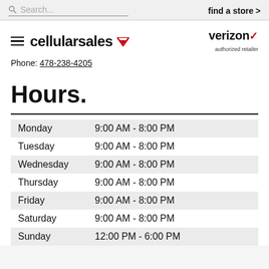Search...   find a store >
[Figure (logo): Cellular Sales logo with hamburger menu icon and red triangular chevron, plus Verizon authorized retailer logo]
Phone: 478-238-4205
Hours.
| Day | Hours |
| --- | --- |
| Monday | 9:00 AM - 8:00 PM |
| Tuesday | 9:00 AM - 8:00 PM |
| Wednesday | 9:00 AM - 8:00 PM |
| Thursday | 9:00 AM - 8:00 PM |
| Friday | 9:00 AM - 8:00 PM |
| Saturday | 9:00 AM - 8:00 PM |
| Sunday | 12:00 PM - 6:00 PM |